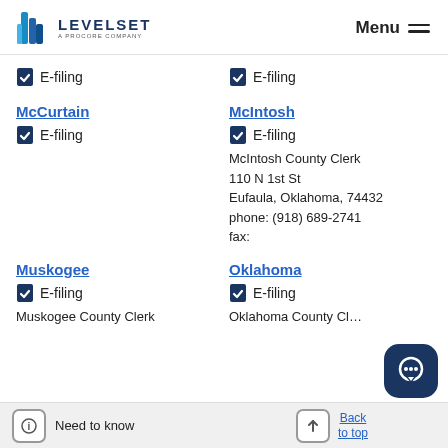LEVELSET A PROCORE COMPANY — Menu
E-filing (left column)
E-filing (right column)
McCurtain
E-filing
McIntosh
E-filing
McIntosh County Clerk
110 N 1st St
Eufaula, Oklahoma, 74432
phone: (918) 689-2741
fax:
Muskogee
E-filing
Muskogee County Clerk
Oklahoma
E-filing
Oklahoma County Cl…
Need to know    Back to top